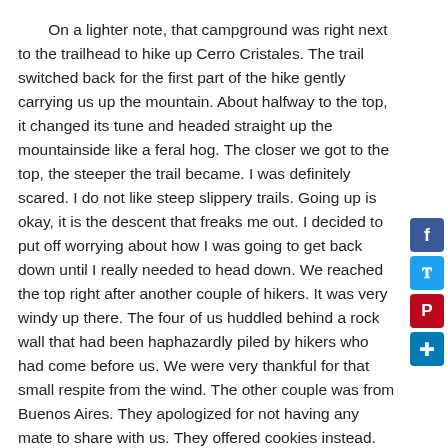On a lighter note, that campground was right next to the trailhead to hike up Cerro Cristales. The trail switched back for the first part of the hike gently carrying us up the mountain. About halfway to the top, it changed its tune and headed straight up the mountainside like a feral hog. The closer we got to the top, the steeper the trail became. I was definitely scared. I do not like steep slippery trails. Going up is okay, it is the descent that freaks me out. I decided to put off worrying about how I was going to get back down until I really needed to head down. We reached the top right after another couple of hikers. It was very windy up there. The four of us huddled behind a rock wall that had been haphazardly piled by hikers who had come before us. We were very thankful for that small respite from the wind. The other couple was from Buenos Aires. They apologized for not having any mate to share with us. They offered cookies instead. We